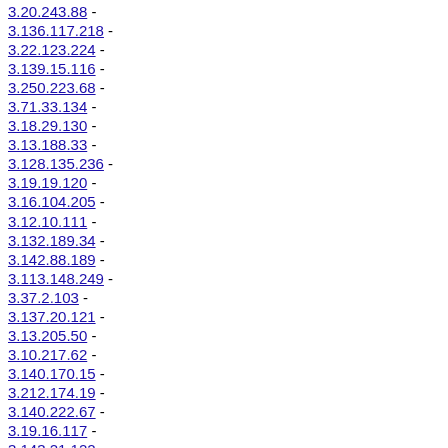3.20.243.88 -
3.136.117.218 -
3.22.123.224 -
3.139.15.116 -
3.250.223.68 -
3.71.33.134 -
3.18.29.130 -
3.13.188.33 -
3.128.135.236 -
3.19.19.120 -
3.16.104.205 -
3.12.10.111 -
3.132.189.34 -
3.142.88.189 -
3.113.148.249 -
3.37.2.103 -
3.137.20.121 -
3.13.205.50 -
3.10.217.62 -
3.140.170.15 -
3.212.174.19 -
3.140.222.67 -
3.19.16.117 -
3.143.21.122 -
3.250.10.111 -
3.230.200.45 -
3.135.242.87 -
3.130.182.27 -
3.23.40.141 -
3.134.142.243 -